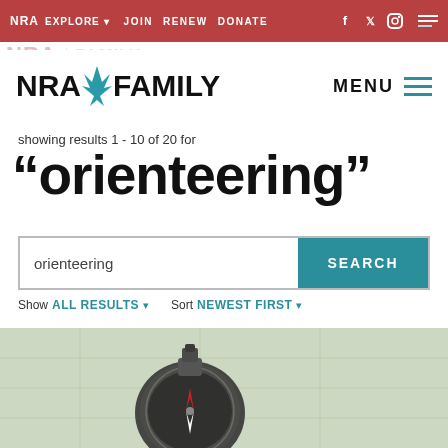NRA EXPLORE ▾  JOIN  RENEW  DONATE
NRA★FAMILY
showing results 1 - 10 of 20 for
“orienteering”
orienteering  SEARCH
Show ALL RESULTS ▾   Sort NEWEST FIRST ▾
[Figure (photo): Close-up photo of a compass on a map, with green background tones suggesting outdoor/navigation context]